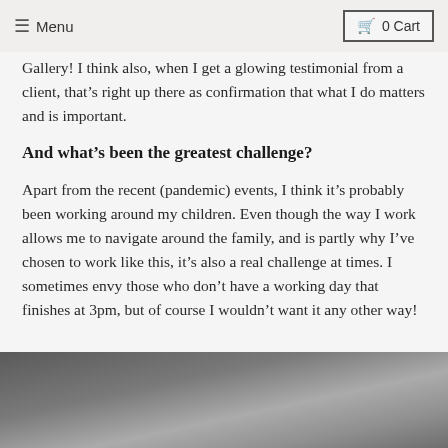≡ Menu   🛒 0 Cart
Gallery! I think also, when I get a glowing testimonial from a client, that's right up there as confirmation that what I do matters and is important.
And what's been the greatest challenge?
Apart from the recent (pandemic) events, I think it's probably been working around my children. Even though the way I work allows me to navigate around the family, and is partly why I've chosen to work like this, it's also a real challenge at times. I sometimes envy those who don't have a working day that finishes at 3pm, but of course I wouldn't want it any other way!
[Figure (photo): A blurred grayscale photo, partially visible at the bottom of the page, dark to light gradient tones.]